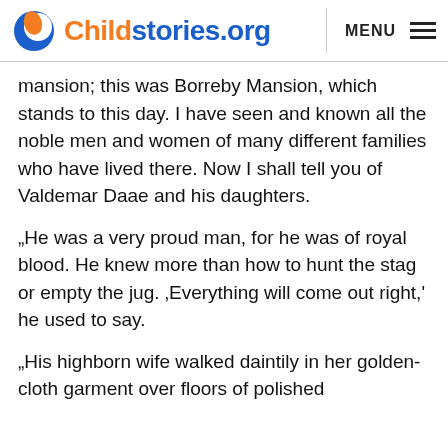Childstories.org  MENU
mansion; this was Borreby Mansion, which stands to this day. I have seen and known all the noble men and women of many different families who have lived there. Now I shall tell you of Valdemar Daae and his daughters.
„He was a very proud man, for he was of royal blood. He knew more than how to hunt the stag or empty the jug. ‚Everything will come out right,' he used to say.
„His highborn wife walked daintily in her golden-cloth garment over floors of polished